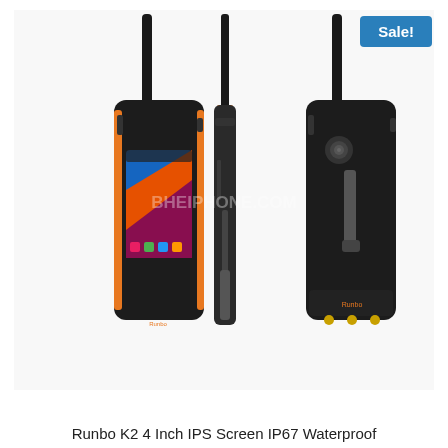Sale!
[Figure (photo): Product photo showing three views of the Runbo K2 rugged Android walkie-talkie smartphone: front view showing touchscreen with Android UI, side view, and rear view. The device is black with orange accents and has a long antenna. A watermark reading 'BHEIDONE.COM' is overlaid. A blue 'Sale!' badge is in the top-right corner.]
Runbo K2 4 Inch IPS Screen IP67 Waterproof